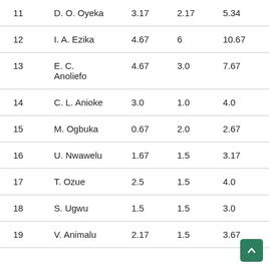| 11 | D. O. Oyeka | 3.17 | 2.17 | 5.34 |
| 12 | I. A. Ezika | 4.67 | 6 | 10.67 |
| 13 | E. C. Anoliefo | 4.67 | 3.0 | 7.67 |
| 14 | C. L. Anioke | 3.0 | 1.0 | 4.0 |
| 15 | M. Ogbuka | 0.67 | 2.0 | 2.67 |
| 16 | U. Nwawelu | 1.67 | 1.5 | 3.17 |
| 17 | T. Ozue | 2.5 | 1.5 | 4.0 |
| 18 | S. Ugwu | 1.5 | 1.5 | 3.0 |
| 19 | V. Animalu | 2.17 | 1.5 | 3.67 |